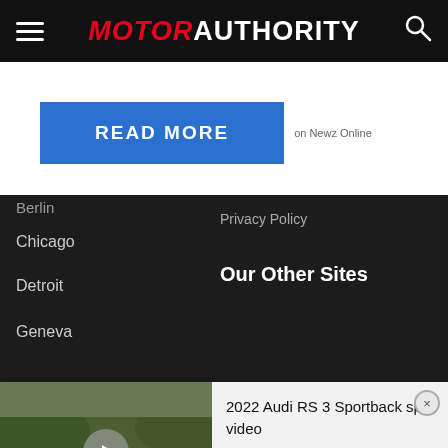MOTOR AUTHORITY
READ MORE on Newz Online
Berlin
Chicago
Detroit
Geneva
Privacy Policy
Our Other Sites
[Figure (screenshot): Video thumbnail showing a car on a racing track (Nurburgring), with a play button overlay]
2022 Audi RS 3 Sportback spy video